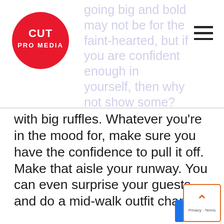CUT PRO MEDIA (logo)
going big and bold may not be for the faint-hearted, but if you are confident enough in yourself, then why not show some? Wear it up with a lace skirt or shut your stuff with big ruffles. Whatever you're in the mood for, make sure you have the confidence to pull it off. Make that aisle your runway. You can even surprise your guests and do a mid-walk outfit change!
4. Short Skirts For Summer
If you're holding your wedding in the summer, then this wedding fashion trend could be for you. Short dresses are on trend this year, and it is only just getting hotter. With the summer around the corner, opt for a short dress. Not